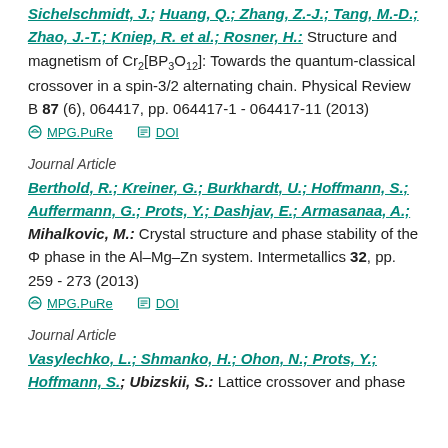Sichelschmidt, J.; Huang, Q.; Zhang, Z.-J.; Tang, M.-D.; Zhao, J.-T.; Kniep, R. et al.; Rosner, H.: Structure and magnetism of Cr2[BP3O12]: Towards the quantum-classical crossover in a spin-3/2 alternating chain. Physical Review B 87 (6), 064417, pp. 064417-1 - 064417-11 (2013)
MPG.PuRe   DOI
Journal Article
Berthold, R.; Kreiner, G.; Burkhardt, U.; Hoffmann, S.; Auffermann, G.; Prots, Y.; Dashjav, E.; Armasanaa, A.; Mihalkovic, M.: Crystal structure and phase stability of the Φ phase in the Al–Mg–Zn system. Intermetallics 32, pp. 259 - 273 (2013)
MPG.PuRe   DOI
Journal Article
Vasylechko, L.; Shmanko, H.; Ohon, N.; Prots, Y.; Hoffmann, S.; Ubizskii, S.: Lattice crossover and phase